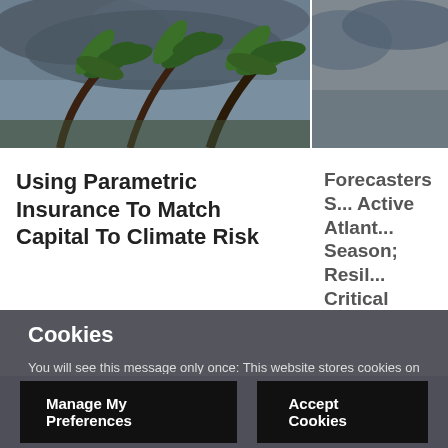[Figure (photo): Photo of palm trees bending in strong hurricane winds with stormy sky]
Using Parametric Insurance To Match Capital To Climate Risk
[Figure (photo): Partial photo visible on right side, partially cropped]
Forecasters S... Active Atlant... Season; Resil... Critical
Cookies
You will see this message only once: This website stores cookies on your computer or mobile device. We use cookies in order to enrich your experience, remember your preferences, and help us understand how the website is being used. If you continue browsing this website without changing your browser settings, you are consenting to the placement and use of these cookies although you can change your settings at any time. Cookie Notice
Manage My Preferences
Accept Cookies